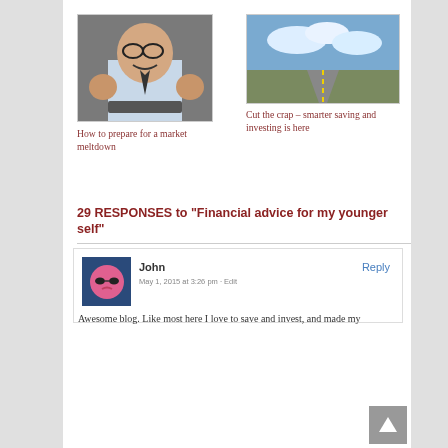[Figure (photo): Angry businessman in white shirt with fists raised, at keyboard]
How to prepare for a market meltdown
[Figure (photo): Empty road stretching to horizon under cloudy sky]
Cut the crap – smarter saving and investing is here
29 RESPONSES to "Financial advice for my younger self"
[Figure (photo): Pink emoji face with sunglasses avatar on dark blue background]
John
Reply
May 1, 2015 at 3:26 pm · Edit
Awesome blog. Like most here I love to save and invest, and made my